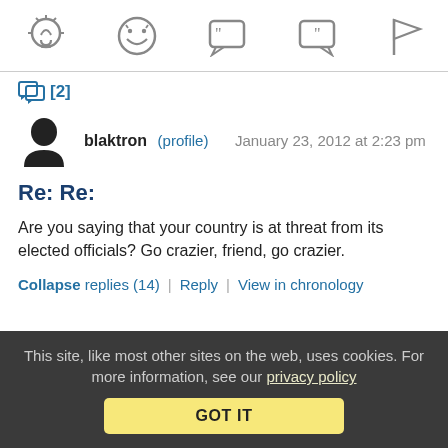[Figure (other): Top toolbar with five icon buttons: lightbulb, laughing emoji, open quote bubble, close quote bubble, flag]
[2]
blaktron (profile)   January 23, 2012 at 2:23 pm
Re: Re:
Are you saying that your country is at threat from its elected officials? Go crazier, friend, go crazier.
Collapse replies (14) | Reply | View in chronology
This site, like most other sites on the web, uses cookies. For more information, see our privacy policy GOT IT